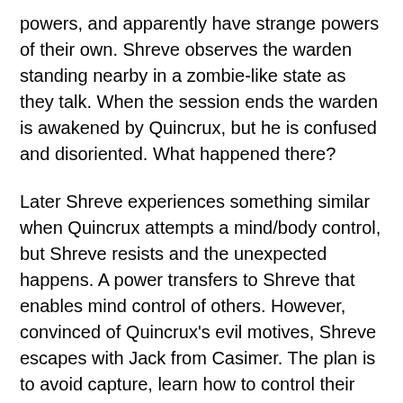powers, and apparently have strange powers of their own. Shreve observes the warden standing nearby in a zombie-like state as they talk. When the session ends the warden is awakened by Quincrux, but he is confused and disoriented. What happened there?
Later Shreve experiences something similar when Quincrux attempts a mind/body control, but Shreve resists and the unexpected happens. A power transfers to Shreve that enables mind control of others. However, convinced of Quincrux's evil motives, Shreve escapes with Jack from Casimer. The plan is to avoid capture, learn how to control their powers, and find out why Quincrux and others are nervous about the northern state of Maryland.
Jacobs does a good job of honing in on the boys' need for control and normalcy in their lives. Jack becomes Shreve's little brother, but unlike Shreve,